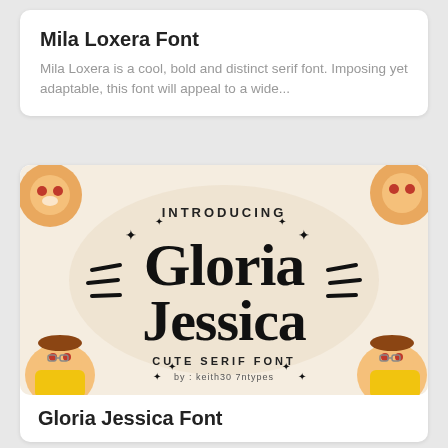Mila Loxera Font
Mila Loxera is a cool, bold and distinct serif font. Imposing yet adaptable, this font will appeal to a wide...
[Figure (illustration): Font preview card for Gloria Jessica Cute Serif Font by keith30 7ntypes, featuring cartoon characters and decorative typography on a cream/beige background]
Gloria Jessica Font